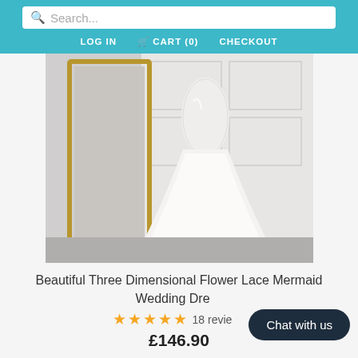Search... | LOG IN  CART (0)  CHECKOUT
[Figure (photo): A white mermaid wedding dress with three-dimensional flower lace bodice, displayed near a gold-framed mirror against a white paneled wall.]
Beautiful Three Dimensional Flower Lace Mermaid Wedding Dress
★★★★★ 18 reviews
£146.90
Chat with us